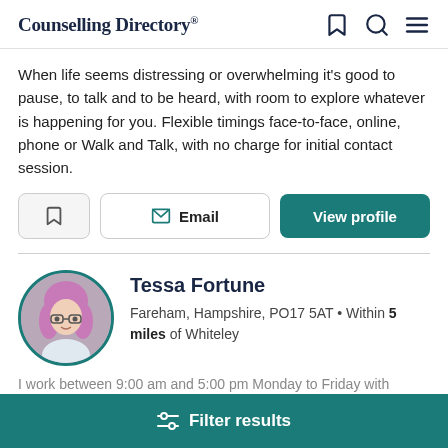Counselling Directory
When life seems distressing or overwhelming it's good to pause, to talk and to be heard, with room to explore whatever is happening for you. Flexible timings face-to-face, online, phone or Walk and Talk, with no charge for initial contact session.
Bookmark | Email | View profile
Tessa Fortune
Fareham, Hampshire, PO17 5AT • Within 5 miles of Whiteley
I work between 9:00 am and 5:00 pm Monday to Friday with
Filter results